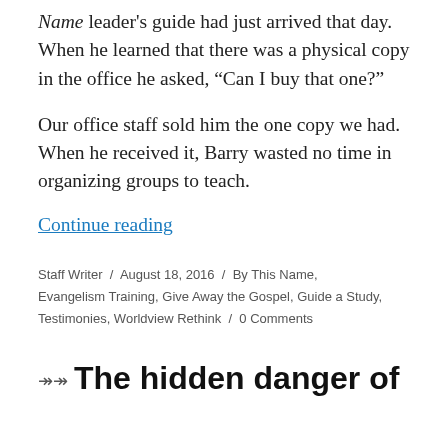Name leader's guide had just arrived that day. When he learned that there was a physical copy in the office he asked, “Can I buy that one?”
Our office staff sold him the one copy we had. When he received it, Barry wasted no time in organizing groups to teach.
Continue reading
Staff Writer / August 18, 2016 / By This Name, Evangelism Training, Give Away the Gospel, Guide a Study, Testimonies, Worldview Rethink / 0 Comments
The hidden danger of